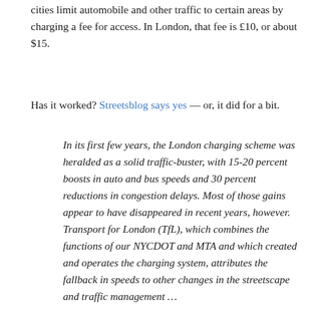cities limit automobile and other traffic to certain areas by charging a fee for access. In London, that fee is £10, or about $15.
Has it worked? Streetsblog says yes — or, it did for a bit.
In its first few years, the London charging scheme was heralded as a solid traffic-buster, with 15-20 percent boosts in auto and bus speeds and 30 percent reductions in congestion delays. Most of those gains appear to have disappeared in recent years, however. Transport for London (TfL), which combines the functions of our NYCDOT and MTA and which created and operates the charging system, attributes the fallback in speeds to other changes in the streetscape and traffic management …